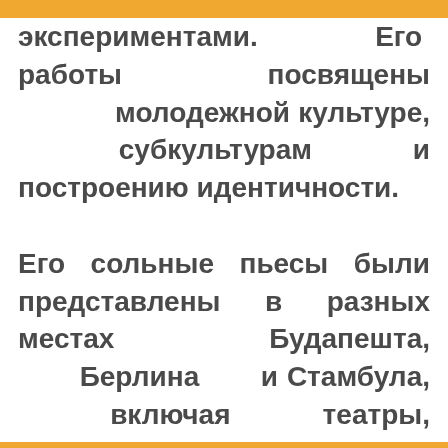экспериментами. Его работы посвящены молодежной культуре, субкультурам и построению идентичности.

Его сольные пьесы были представлены в разных местах Будапешта, Берлина и Стамбула, включая театры, выставочные залы и фестивали. Его спектакль под названием «ΔYOU TAKE MY BREATH AWAYΔ» был показан в